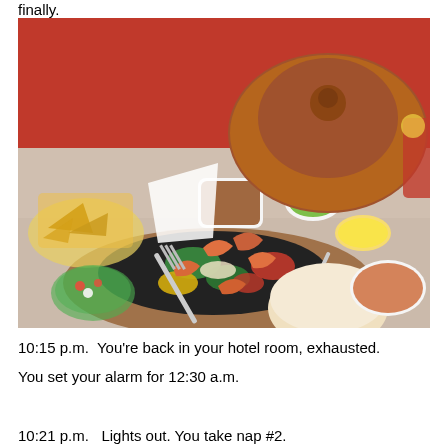finally.
[Figure (photo): A sizzling skillet of shrimp fajitas with colorful bell peppers and onions on a wooden board, accompanied by tortillas, rice, beans, pico de gallo, guacamole, chips, and a bean soup, served at a Mexican restaurant with red booth seating.]
10:15 p.m.  You're back in your hotel room, exhausted.
You set your alarm for 12:30 a.m.

10:21 p.m.   Lights out. You take nap #2.